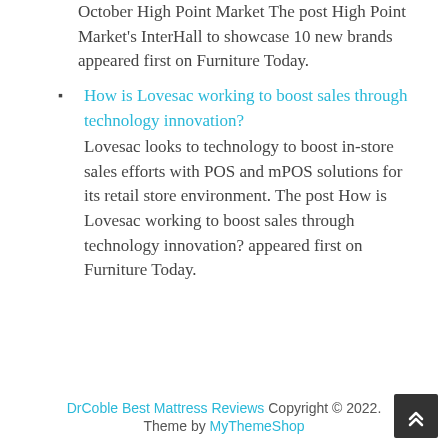October High Point Market The post High Point Market's InterHall to showcase 10 new brands appeared first on Furniture Today.
How is Lovesac working to boost sales through technology innovation? Lovesac looks to technology to boost in-store sales efforts with POS and mPOS solutions for its retail store environment. The post How is Lovesac working to boost sales through technology innovation? appeared first on Furniture Today.
DrCoble Best Mattress Reviews Copyright © 2022. Theme by MyThemeShop